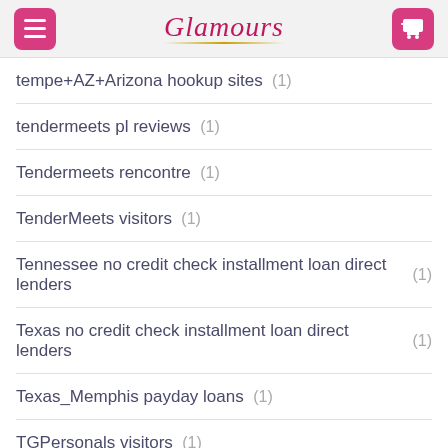Glamours
tempe+AZ+Arizona hookup sites (1)
tendermeets pl reviews (1)
Tendermeets rencontre (1)
TenderMeets visitors (1)
Tennessee no credit check installment loan direct lenders (1)
Texas no credit check installment loan direct lenders (1)
Texas_Memphis payday loans (1)
TGPersonals visitors (1)
thai dating reviews (1)
thai dating sign in (1)